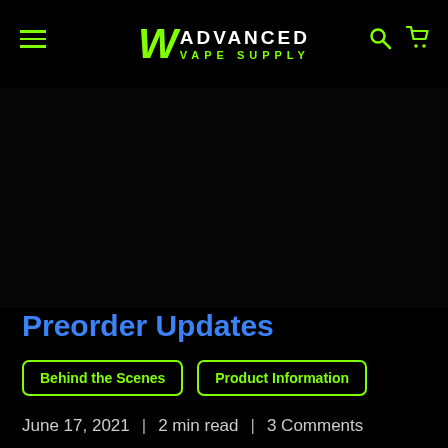Advanced Vape Supply
[Figure (screenshot): Large dark/black hero image area]
Preorder Updates
Behind the Scenes
Product Information
June 17, 2021  |  2 min read  |  3 Comments